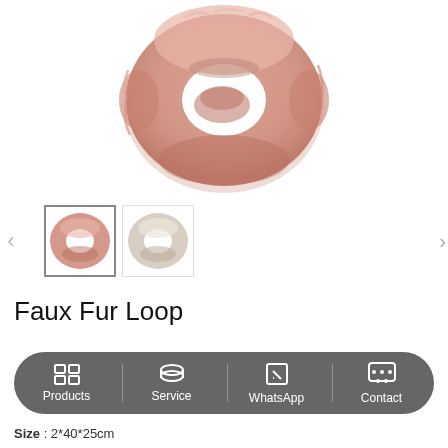[Figure (photo): Main product photo of a pink/blush faux fur loop scarf viewed from above, ring-shaped, on white background]
[Figure (photo): Thumbnail 1: pink faux fur loop scarf, selected/highlighted with border]
[Figure (photo): Thumbnail 2: cream/white faux fur loop scarf]
Faux Fur Loop
Products
Service
WhatsApp
Contact
Size : 2*40*25cm